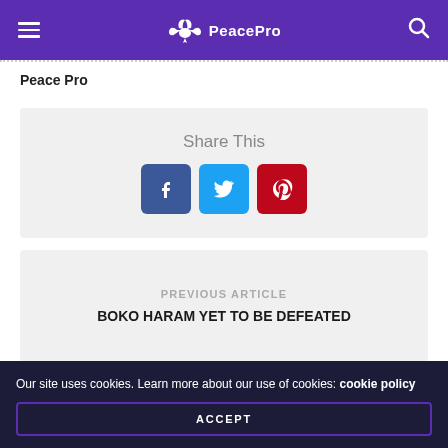PeacePro
Peace Pro
[Figure (infographic): Share This section with Facebook, Twitter, and Pinterest social share buttons]
PREVIOUS ARTICLE
BOKO HARAM YET TO BE DEFEATED
NEXT ARTICLE
Our site uses cookies. Learn more about our use of cookies: cookie policy
ACCEPT